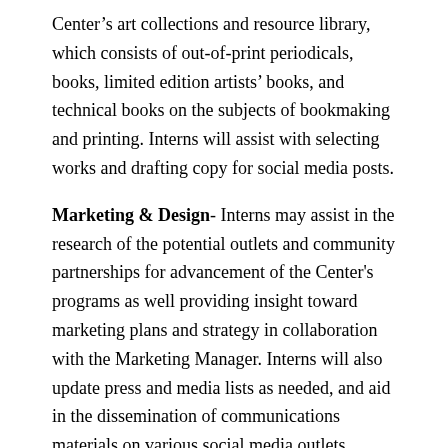Center's art collections and resource library, which consists of out-of-print periodicals, books, limited edition artists' books, and technical books on the subjects of bookmaking and printing. Interns will assist with selecting works and drafting copy for social media posts.
Marketing & Design- Interns may assist in the research of the potential outlets and community partnerships for advancement of the Center's programs as well providing insight toward marketing plans and strategy in collaboration with the Marketing Manager. Interns will also update press and media lists as needed, and aid in the dissemination of communications materials on various social media outlets. Interns interested and trained in graphic design are welcome and highly encouraged to apply their design sense to the development of the Center's brand.
Digital Media & Video- Interns will primarily assist in helping to edit and build out our growing Online Class Archive utilizing the Center's digital media style guide. Additionally, interns may assist